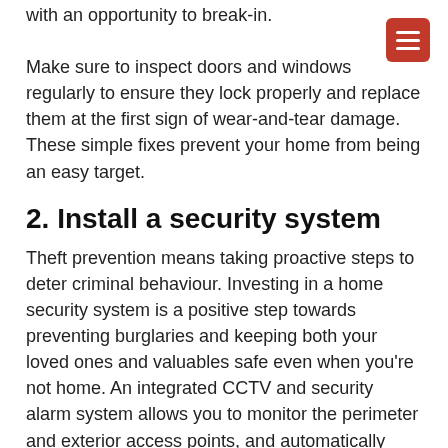with an opportunity to break-in.

Make sure to inspect doors and windows regularly to ensure they lock properly and replace them at the first sign of wear-and-tear damage. These simple fixes prevent your home from being an easy target.
2. Install a security system
Theft prevention means taking proactive steps to deter criminal behaviour. Investing in a home security system is a positive step towards preventing burglaries and keeping both your loved ones and valuables safe even when you're not home. An integrated CCTV and security alarm system allows you to monitor the perimeter and exterior access points, and automatically alert local law enforcement in case of an attempted break-in.
3. Obscure home interiors and